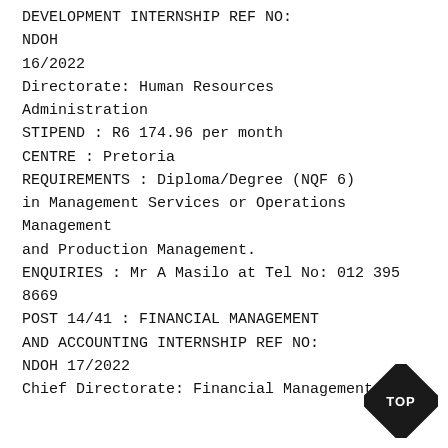DEVELOPMENT INTERNSHIP REF NO: NDOH 16/2022
Directorate: Human Resources Administration
STIPEND : R6 174.96 per month
CENTRE : Pretoria
REQUIREMENTS : Diploma/Degree (NQF 6) in Management Services or Operations Management and Production Management.
ENQUIRIES : Mr A Masilo at Tel No: 012 395 8669
POST 14/41 : FINANCIAL MANAGEMENT AND ACCOUNTING INTERNSHIP REF NO: NDOH 17/2022
Chief Directorate: Financial Management and